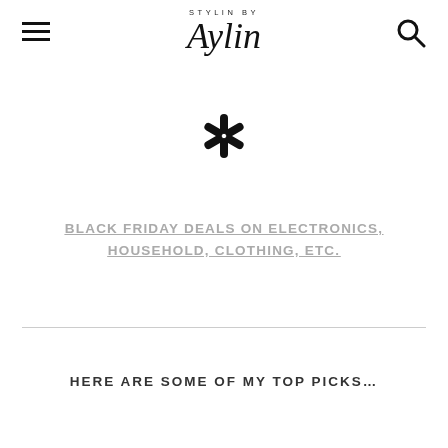STYLIN BY Aylin
[Figure (logo): Walmart spark logo icon in black]
BLACK FRIDAY DEALS ON ELECTRONICS, HOUSEHOLD, CLOTHING, ETC.
HERE ARE SOME OF MY TOP PICKS…